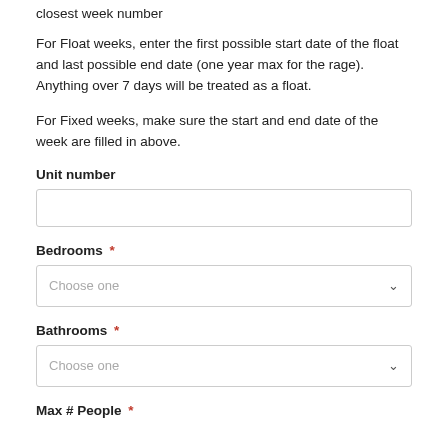closest week number
For Float weeks, enter the first possible start date of the float and last possible end date (one year max for the rage). Anything over 7 days will be treated as a float.
For Fixed weeks, make sure the start and end date of the week are filled in above.
Unit number
Bedrooms *
Bathrooms *
Max # People *